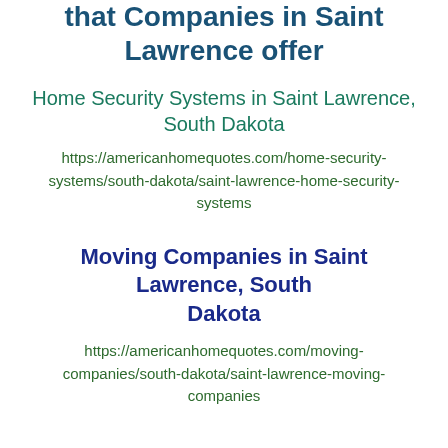that Companies in Saint Lawrence offer
Home Security Systems in Saint Lawrence, South Dakota
https://americanhomequotes.com/home-security-systems/south-dakota/saint-lawrence-home-security-systems
Moving Companies in Saint Lawrence, South Dakota
https://americanhomequotes.com/moving-companies/south-dakota/saint-lawrence-moving-companies